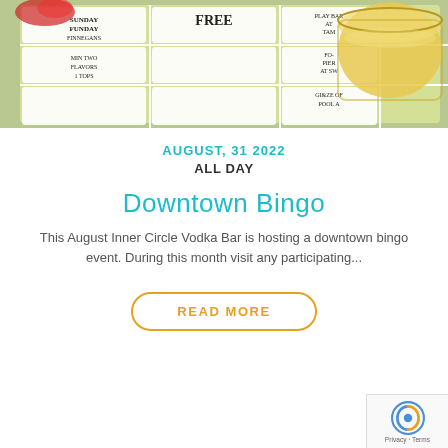[Figure (photo): Overhead photo of a bingo card with various promotional squares (FREE, MIN TWO FLAVORS, SUNDAY FUNDAY FINNEGANS, etc.) and a glass of golden liquid beverage on the right side.]
AUGUST, 31 2022
ALL DAY
Downtown Bingo
This August Inner Circle Vodka Bar is hosting a downtown bingo event. During this month visit any participating...
READ MORE